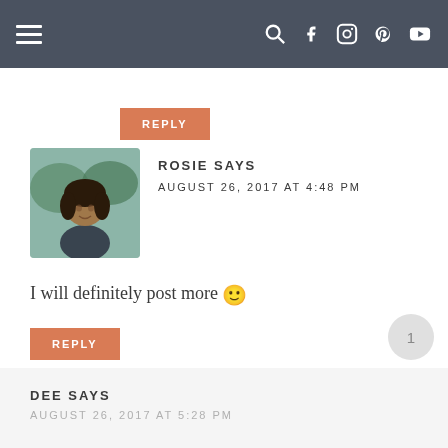Navigation bar with menu icon and social icons
REPLY
ROSIE SAYS
AUGUST 26, 2017 AT 4:48 PM
I will definitely post more 🙂
REPLY
DEE SAYS
AUGUST 26, 2017 AT 5:28 PM